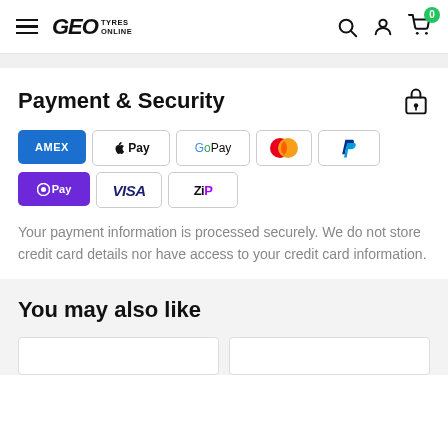GEO TYRES ONLINE — navigation header with search, account, cart icons
Payment & Security
[Figure (logo): Payment method logos: American Express, Apple Pay, Google Pay, Mastercard, PayPal, OPay, Visa, Zip]
Your payment information is processed securely. We do not store credit card details nor have access to your credit card information.
You may also like